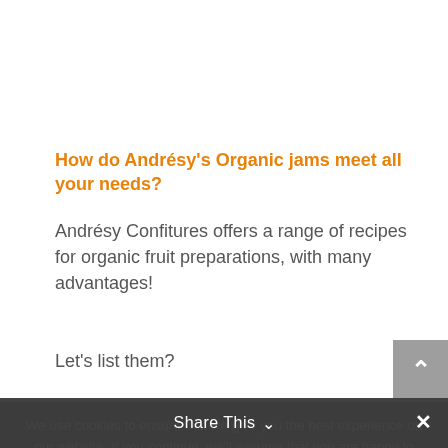How do Andrésy's Organic jams meet all your needs?
Andrésy Confitures offers a range of recipes for organic fruit preparations, with many advantages!
Let's list them?
Our ANDRÉSY GOURMET organic fruit
We use cookies to ensure that we give you the best experience on our website. If you continue, we'll assume that you are happy to receive all the cookies on this website
Share This